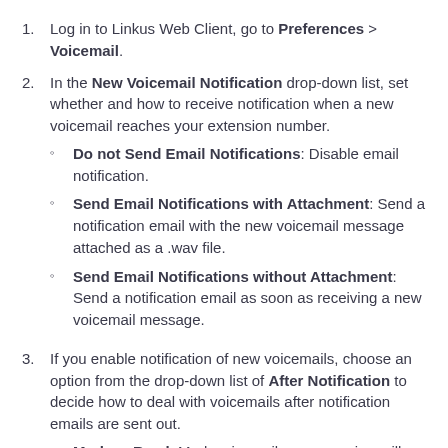Log in to Linkus Web Client, go to Preferences > Voicemail.
In the New Voicemail Notification drop-down list, set whether and how to receive notification when a new voicemail reaches your extension number.
Do not Send Email Notifications: Disable email notification.
Send Email Notifications with Attachment: Send a notification email with the new voicemail message attached as a .wav file.
Send Email Notifications without Attachment: Send a notification email as soon as receiving a new voicemail message.
If you enable notification of new voicemails, choose an option from the drop-down list of After Notification to decide how to deal with voicemails after notification emails are sent out.
Mark as Read: Mark voicemail messages in mailbox